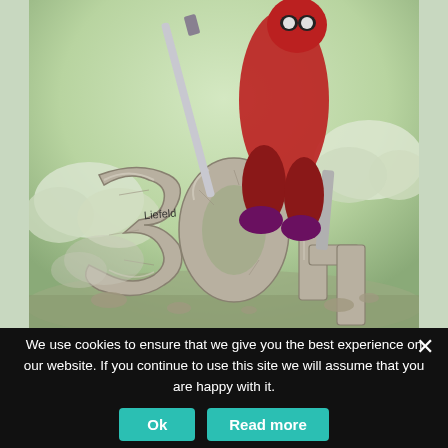[Figure (illustration): Comic book cover art showing Deadpool (red and black costumed character) posing with a sword and gun on top of large stone '30th' lettering. Artist signature 'Liefeld' visible. The illustration celebrates the character's 30th anniversary.]
We use cookies to ensure that we give you the best experience on our website. If you continue to use this site we will assume that you are happy with it.